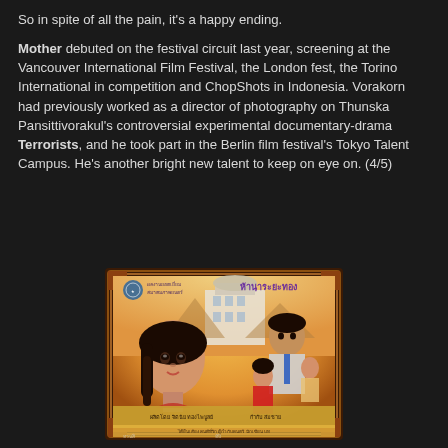So in spite of all the pain, it's a happy ending.

Mother debuted on the festival circuit last year, screening at the Vancouver International Film Festival, the London fest, the Torino International in competition and ChopShots in Indonesia. Vorakorn had previously worked as a director of photography on Thunska Pansittivorakul's controversial experimental documentary-drama Terrorists, and he took part in the Berlin film festival's Tokyo Talent Campus. He's another bright new talent to keep on eye on. (4/5)
[Figure (photo): Thai movie poster featuring illustrated characters including a young woman with braided hair in the foreground, a man in a suit with a tie, a woman in a red dress, and other figures. The poster has Thai script text and an ornate decorative border with warm orange and gold colors.]